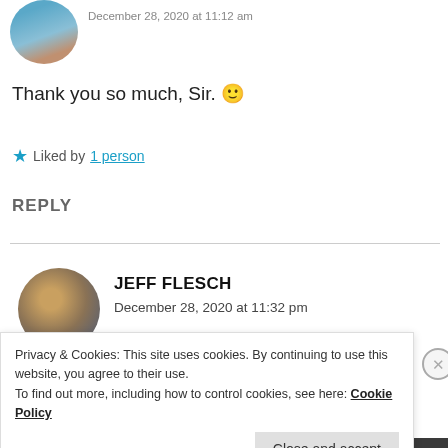December 28, 2020 at 11:12 am
Thank you so much, Sir. 🙂
★ Liked by 1 person
REPLY
JEFF FLESCH
December 28, 2020 at 11:32 pm
Privacy & Cookies: This site uses cookies. By continuing to use this website, you agree to their use.
To find out more, including how to control cookies, see here: Cookie Policy
Close and accept